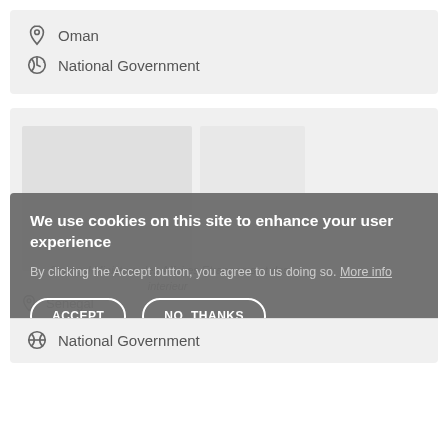Oman
National Government
[Figure (screenshot): Screenshot of a government website listing with image placeholders and partially visible text about Senegal Ministere des Affaires Etrangeres et des ... interieur]
We use cookies on this site to enhance your user experience
By clicking the Accept button, you agree to us doing so. More info
ACCEPT
NO, THANKS
Senegal
National Government